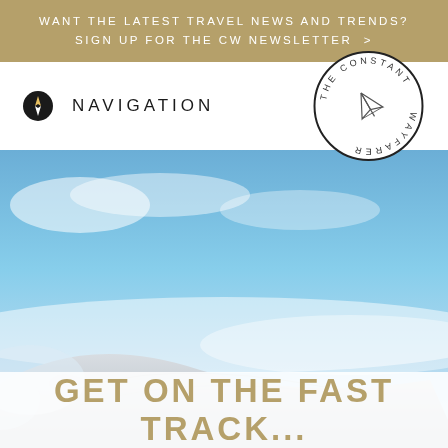WANT THE LATEST TRAVEL NEWS AND TRENDS? SIGN UP FOR THE CW NEWSLETTER >
NAVIGATION
[Figure (logo): The Constant Wayfarer circular logo with paper plane in center and text around the border]
[Figure (photo): View from airplane window showing wing against blue sky with clouds]
GET ON THE FAST TRACK...